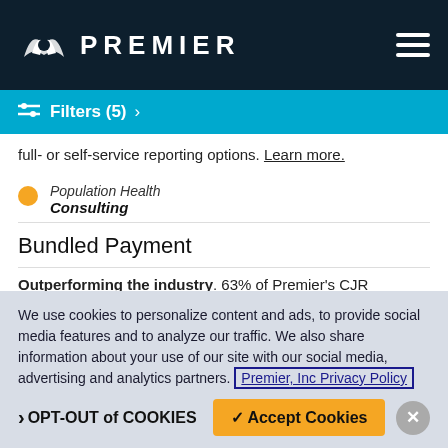PREMIER
Filters (5) >
full- or self-service reporting options. Learn more.
Population Health Consulting
Bundled Payment
Outperforming the industry. 63% of Premier's CJR participants received savings payments from Medicare. Learn more.
We use cookies to personalize content and ads, to provide social media features and to analyze our traffic. We also share information about your use of our site with our social media, advertising and analytics partners. Premier, Inc Privacy Policy
> OPT-OUT of COOKIES  ✓ Accept Cookies  ✕